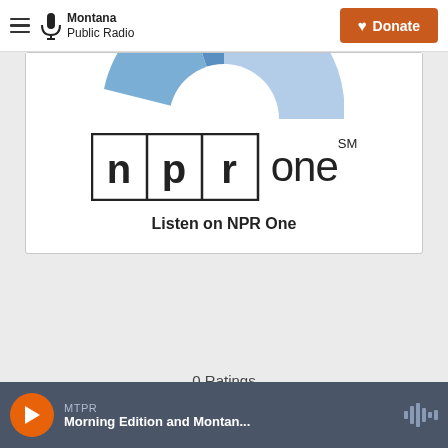[Figure (screenshot): Montana Public Radio website header with hamburger menu, Montana Public Radio logo (microphone icon), and orange Donate button with heart icon]
[Figure (other): NPR One app promotional card showing partial blue pie/donut chart at top, NPR One logo (npr in boxes + 'one' text with SM superscript), and 'Listen on NPR One' text]
0 Ratings
[Figure (screenshot): Audio player bar at bottom with orange play button, MTPR station label, 'Morning Edition and Montan...' title, and waveform icon on the right]